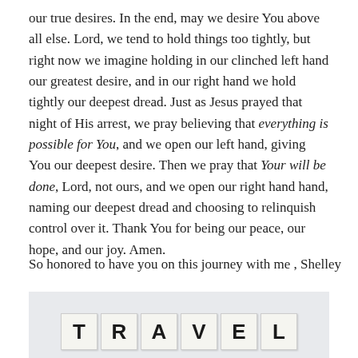our true desires. In the end, may we desire You above all else. Lord, we tend to hold things too tightly, but right now we imagine holding in our clinched left hand our greatest desire, and in our right hand we hold tightly our deepest dread. Just as Jesus prayed that night of His arrest, we pray believing that everything is possible for You, and we open our left hand, giving You our deepest desire. Then we pray that Your will be done, Lord, not ours, and we open our right hand hand, naming our deepest dread and choosing to relinquish control over it. Thank You for being our peace, our hope, and our joy. Amen.
So honored to have you on this journey with me , Shelley
[Figure (photo): A light gray background photo showing Scrabble-like letter tiles spelling out TRAVEL in large bold capital letters.]